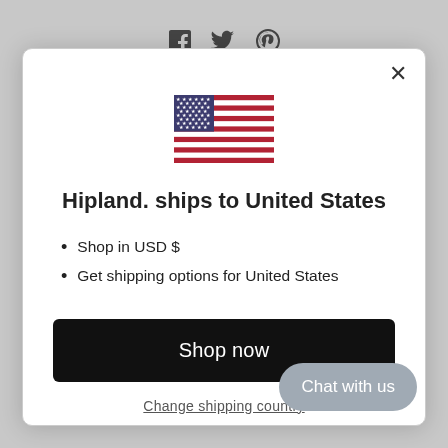[Figure (screenshot): Social media icons (Facebook, Twitter, Pinterest) shown in background behind modal]
Hipland. ships to United States
Shop in USD $
Get shipping options for United States
Shop now
Change shipping country
Chat with us
Shipping Policy
Refund Policy